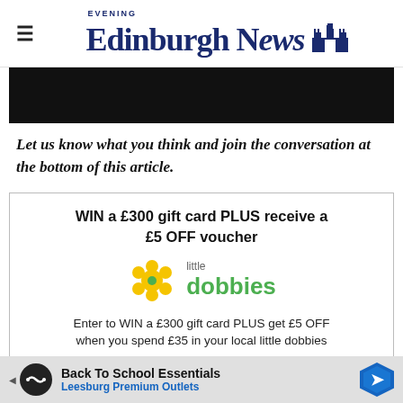Edinburgh Evening News
[Figure (photo): Black banner/image area]
Let us know what you think and join the conversation at the bottom of this article.
[Figure (infographic): Advertisement box: WIN a £300 gift card PLUS receive a £5 OFF voucher - little dobbies logo - Enter to WIN a £300 gift card PLUS get £5 OFF when you spend £35 in your local little dobbies]
[Figure (infographic): Bottom ad banner: Back To School Essentials - Leesburg Premium Outlets]